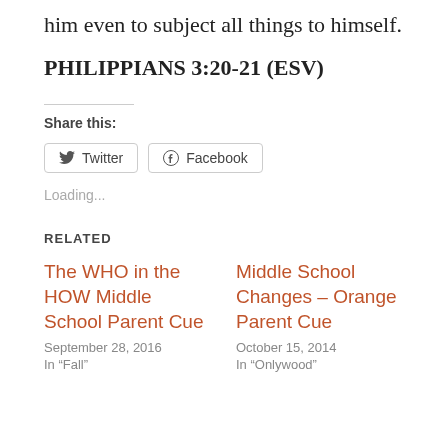him even to subject all things to himself.
PHILIPPIANS 3:20-21 (ESV)
Share this:
Twitter  Facebook
Loading...
RELATED
The WHO in the HOW Middle School Parent Cue
September 28, 2016
In "Fall"
Middle School Changes – Orange Parent Cue
October 15, 2014
In "Onlywood"